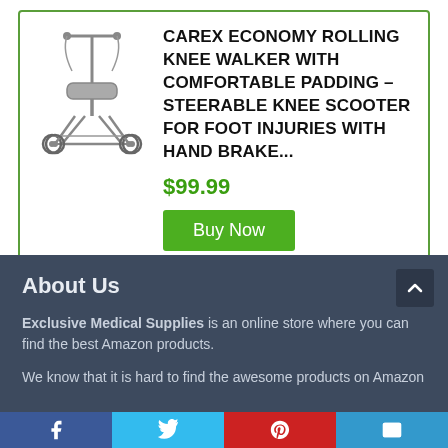[Figure (illustration): Knee walker / rolling knee scooter product image showing a 4-wheeled scooter with knee pad and handlebar with hand brake]
CAREX ECONOMY ROLLING KNEE WALKER WITH COMFORTABLE PADDING – STEERABLE KNEE SCOOTER FOR FOOT INJURIES WITH HAND BRAKE...
$99.99
Buy Now
About Us
Exclusive Medical Supplies is an online store where you can find the best Amazon products.
We know that it is hard to find the awesome products on Amazon